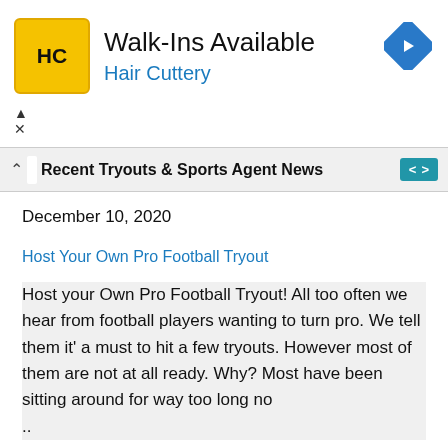[Figure (logo): Hair Cuttery advertisement banner with HC logo, 'Walk-Ins Available' heading, 'Hair Cuttery' subtitle in blue, navigation arrow icon top-right, and ad controls bottom-left]
Recent Tryouts & Sports Agent News
December 10, 2020
Host Your Own Pro Football Tryout
Host your Own Pro Football Tryout! All too often we hear from football players wanting to turn pro. We tell them it' a must to hit a few tryouts. However most of them are not at all ready. Why? Most have been sitting around for way too long no ..